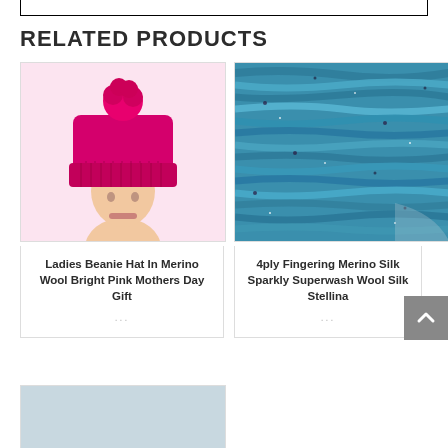RELATED PRODUCTS
[Figure (photo): Photo of a mannequin head wearing a bright pink/magenta ribbed merino wool beanie hat with a pom-pom on top]
Ladies Beanie Hat In Merino Wool Bright Pink Mothers Day Gift
[Figure (photo): Close-up photo of teal/blue sparkly merino silk yarn skeins with speckles]
4ply Fingering Merino Silk Sparkly Superwash Wool Silk Stellina
[Figure (photo): Partially visible product image with light blue/gray background, cut off at bottom of page]